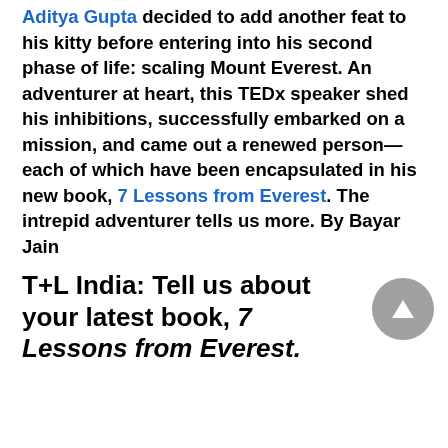Aditya Gupta decided to add another feat to his kitty before entering into his second phase of life: scaling Mount Everest. An adventurer at heart, this TEDx speaker shed his inhibitions, successfully embarked on a mission, and came out a renewed person—each of which have been encapsulated in his new book, 7 Lessons from Everest. The intrepid adventurer tells us more. By Bayar Jain
T+L India: Tell us about your latest book, 7 Lessons from Everest.